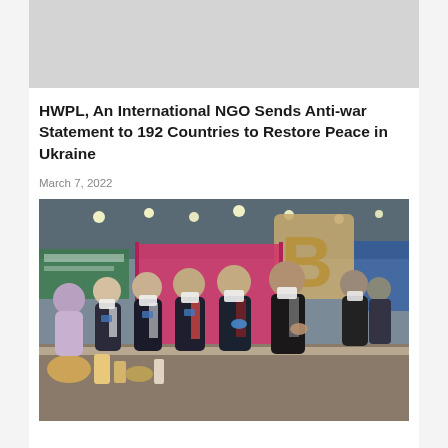[Figure (photo): Gray placeholder image at top of article]
HWPL, An International NGO Sends Anti-war Statement to 192 Countries to Restore Peace in Ukraine
March 7, 2022
[Figure (photo): Photo of group of people wearing masks at what appears to be an indoor exhibition or trade show, looking at displays on a table. A large letter B sign is visible in the background.]